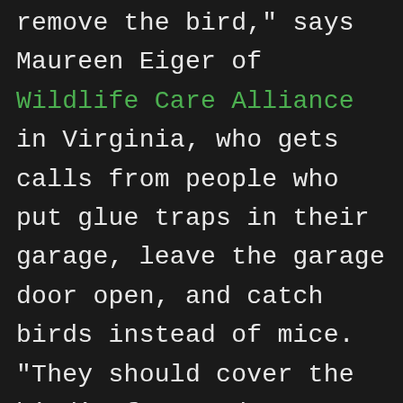...they try to remove the bird," says Maureen Eiger of Wildlife Care Alliance in Virginia, who gets calls from people who put glue traps in their garage, leave the garage door open, and catch birds instead of mice. "They should cover the bird's face and put cornstarch, flour, cornmeal, or paper tissues on the rest of the trap, so he doesn't become stuck more. Then put both the bird and the trap in a dark cardboard box so he'll calm down, and get him to me immediately. They should outlaw sticky traps. It's a horrid, slow way to die."